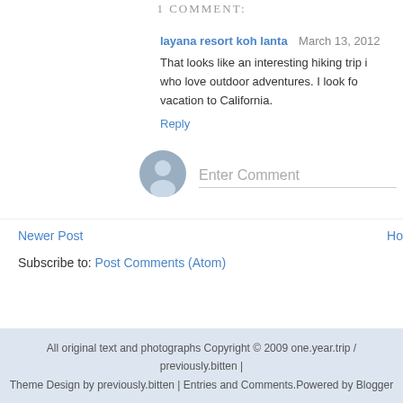1 COMMENT:
layana resort koh lanta  March 13, 2012
That looks like an interesting hiking trip i who love outdoor adventures. I look for vacation to California.
Reply
[Figure (other): Default user avatar circle with silhouette icon, grey-blue color]
Enter Comment
Newer Post    Ho
Subscribe to: Post Comments (Atom)
All original text and photographs Copyright © 2009 one.year.trip / previously.bitten | Theme Design by previously.bitten | Entries and Comments.Powered by Blogger